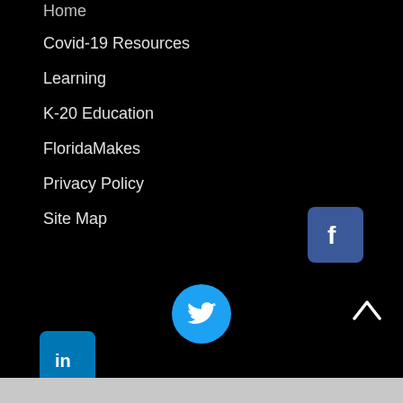Home
Covid-19 Resources
Learning
K-20 Education
FloridaMakes
Privacy Policy
Site Map
[Figure (logo): Facebook icon - blue square with white 'f' letter]
[Figure (logo): Twitter icon - cyan circle with white bird logo]
[Figure (logo): LinkedIn icon - blue square with white 'in' text]
[Figure (other): Up arrow caret symbol in white]